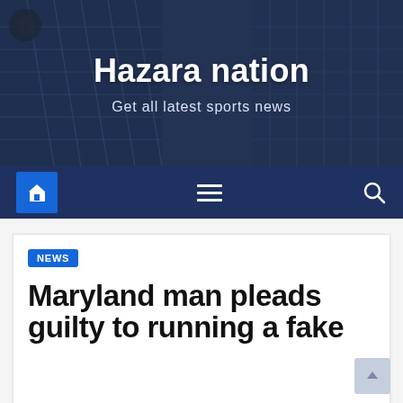Hazara nation — Get all latest sports news
[Figure (screenshot): Website header banner with dark blue overlay on building/skyscraper background image. Shows site name 'Hazara nation' and tagline 'Get all latest sports news'. Below is a dark navy navigation bar with a blue home button icon on the left, a hamburger menu icon in the center, and a search icon on the right.]
Maryland man pleads guilty to running a fake
NEWS